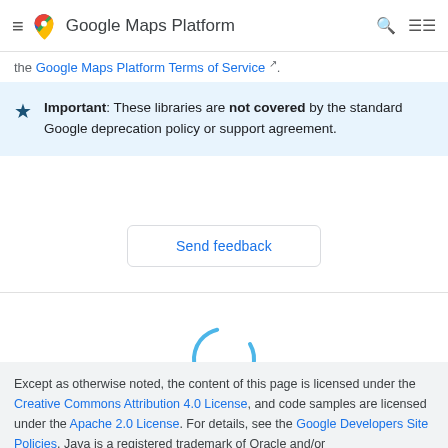Google Maps Platform
the Google Maps Platform Terms of Service.
Important: These libraries are not covered by the standard Google deprecation policy or support agreement.
Send feedback
[Figure (other): Loading spinner — a partial circle arc in blue indicating a loading state]
Except as otherwise noted, the content of this page is licensed under the Creative Commons Attribution 4.0 License, and code samples are licensed under the Apache 2.0 License. For details, see the Google Developers Site Policies. Java is a registered trademark of Oracle and/or